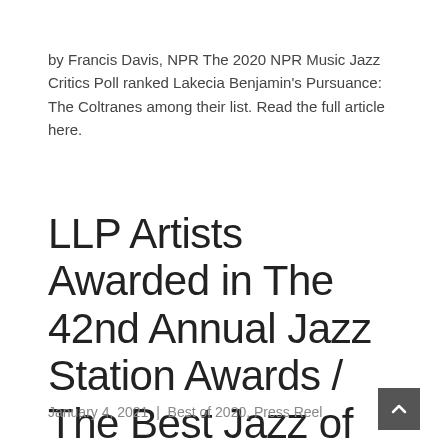by Francis Davis, NPR The 2020 NPR Music Jazz Critics Poll ranked Lakecia Benjamin's Pursuance: The Coltranes among their list. Read the full article here.
LLP Artists Awarded in The 42nd Annual Jazz Station Awards / The Best Jazz of 2020 – Jazz Station
January 4, 2021  |  Best of 2020, Press Reel